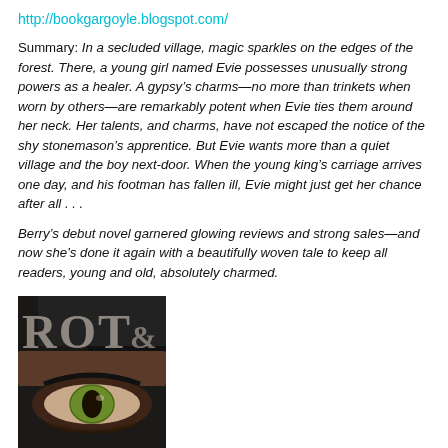http://bookgargoyle.blogspot.com/
Summary: In a secluded village, magic sparkles on the edges of the forest. There, a young girl named Evie possesses unusually strong powers as a healer. A gypsy’s charms—no more than trinkets when worn by others—are remarkably potent when Evie ties them around her neck. Her talents, and charms, have not escaped the notice of the shy stonemason’s apprentice. But Evie wants more than a quiet village and the boy next-door. When the young king’s carriage arrives one day, and his footman has fallen ill, Evie might just get her chance after all . . .
Berry’s debut novel garnered glowing reviews and strong sales—and now she’s done it again with a beautifully woven tale to keep all readers, young and old, absolutely charmed.
[Figure (illustration): Book cover showing large letters ROT& and a close-up of a person's eye with dark hair, on a dark/grey background. Partial text visible at bottom.]